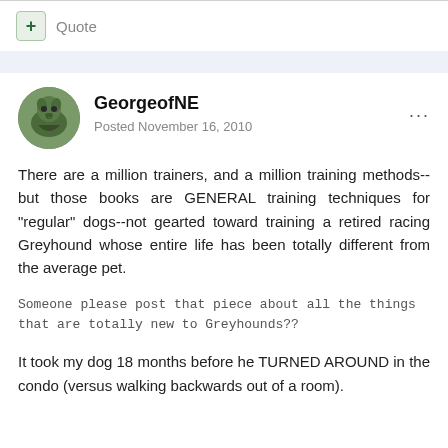+ Quote
GeorgeofNE
Posted November 16, 2010
There are a million trainers, and a million training methods--but those books are GENERAL training techniques for "regular" dogs--not gearted toward training a retired racing Greyhound whose entire life has been totally different from the average pet.
Someone please post that piece about all the things that are totally new to Greyhounds??
It took my dog 18 months before he TURNED AROUND in the condo (versus walking backwards out of a room).